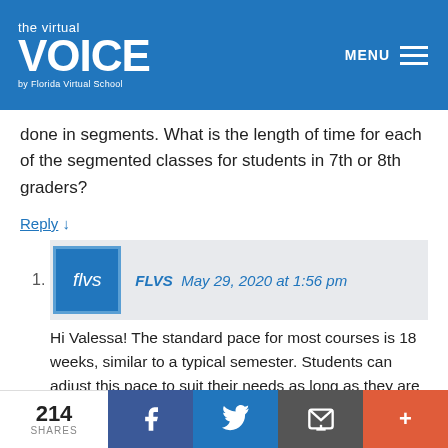the virtual VOICE by Florida Virtual School
done in segments. What is the length of time for each of the segmented classes for students in 7th or 8th graders?
Reply ↓
FLVS  May 29, 2020 at 1:56 pm
Hi Valessa! The standard pace for most courses is 18 weeks, similar to a typical semester. Students can adjust this pace to suit their needs as long as they are showing weekly progress!
214 SHARES  f  Twitter  Email  +